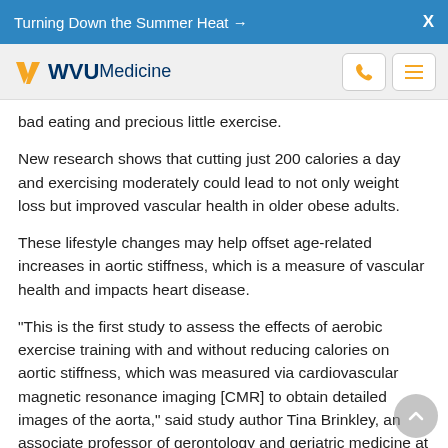Turning Down the Summer Heat →
[Figure (logo): WVU Medicine logo with phone and menu icons]
bad eating and precious little exercise.
New research shows that cutting just 200 calories a day and exercising moderately could lead to not only weight loss but improved vascular health in older obese adults.
These lifestyle changes may help offset age-related increases in aortic stiffness, which is a measure of vascular health and impacts heart disease.
"This is the first study to assess the effects of aerobic exercise training with and without reducing calories on aortic stiffness, which was measured via cardiovascular magnetic resonance imaging [CMR] to obtain detailed images of the aorta," said study author Tina Brinkley, an associate professor of gerontology and geriatric medicine at the Sticht Center for Healthy Aging and Alzheimer's Prevention at Wake Forest